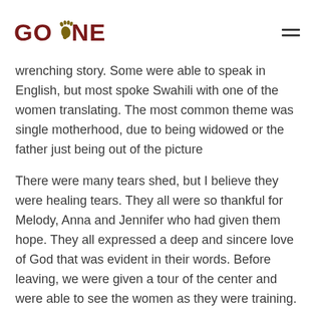GO·NEAR [logo]
wrenching story. Some were able to speak in English, but most spoke Swahili with one of the women translating. The most common theme was single motherhood, due to being widowed or the father just being out of the picture
There were many tears shed, but I believe they were healing tears. They all were so thankful for Melody, Anna and Jennifer who had given them hope. They all expressed a deep and sincere love of God that was evident in their words. Before leaving, we were given a tour of the center and were able to see the women as they were training.